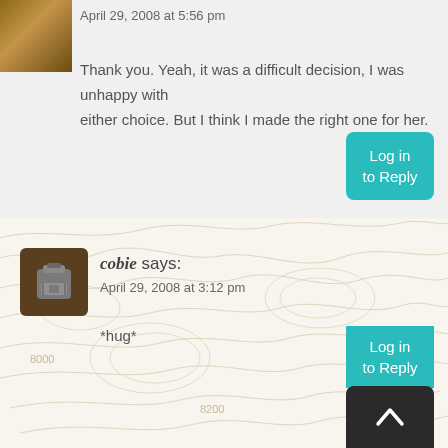April 29, 2008 at 5:56 pm
Thank you. Yeah, it was a difficult decision, I was unhappy with either choice. But I think I made the right one for her.
Log in to Reply
cobie says:
April 29, 2008 at 3:12 pm
*hug*
Log in to Reply